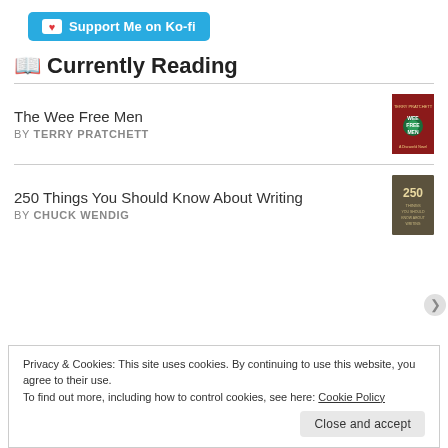[Figure (other): Ko-fi support button with teal background, coffee cup icon, and text 'Support Me on Ko-fi']
📖 Currently Reading
The Wee Free Men
BY TERRY PRATCHETT
[Figure (illustration): Book cover of 'The Wee Free Men' by Terry Pratchett — red cover with illustrated characters]
250 Things You Should Know About Writing
BY CHUCK WENDIG
[Figure (illustration): Book cover of '250 Things You Should Know About Writing' by Chuck Wendig — dark illustrated cover]
Privacy & Cookies: This site uses cookies. By continuing to use this website, you agree to their use. To find out more, including how to control cookies, see here: Cookie Policy
Close and accept